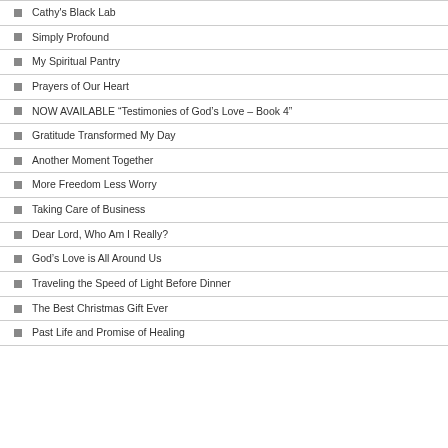Cathy's Black Lab
Simply Profound
My Spiritual Pantry
Prayers of Our Heart
NOW AVAILABLE “Testimonies of God’s Love – Book 4”
Gratitude Transformed My Day
Another Moment Together
More Freedom Less Worry
Taking Care of Business
Dear Lord, Who Am I Really?
God’s Love is All Around Us
Traveling the Speed of Light Before Dinner
The Best Christmas Gift Ever
Past Life and Promise of Healing